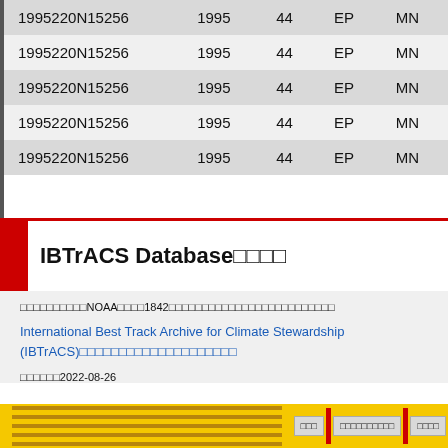| ID | Year | Num | Basin | Basin2 |
| --- | --- | --- | --- | --- |
| 1995220N15256 | 1995 | 44 | EP | MN |
| 1995220N15256 | 1995 | 44 | EP | MN |
| 1995220N15256 | 1995 | 44 | EP | MN |
| 1995220N15256 | 1995 | 44 | EP | MN |
| 1995220N15256 | 1995 | 44 | EP | MN |
IBTrACS Database (Japanese characters)
(Japanese text) NOAA (Japanese text) 1842 (Japanese text)
International Best Track Archive for Climate Stewardship (IBTrACS) (Japanese text)
(Japanese text) 2022-08-26
(navigation buttons)